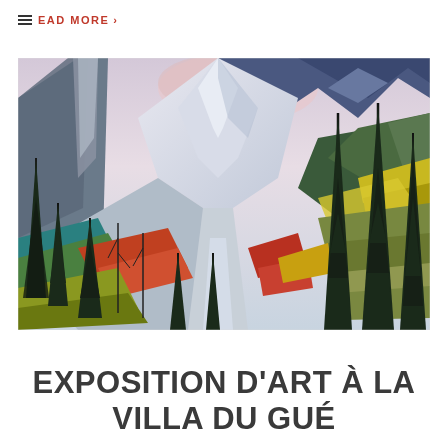READ MORE >
[Figure (illustration): Abstract cubist-style landscape painting featuring snow-capped mountains, a valley river, tall dark pine trees, and colorful layered terrain in blues, greens, yellows, and reds.]
EXPOSITION D'ART À LA VILLA DU GUÉ